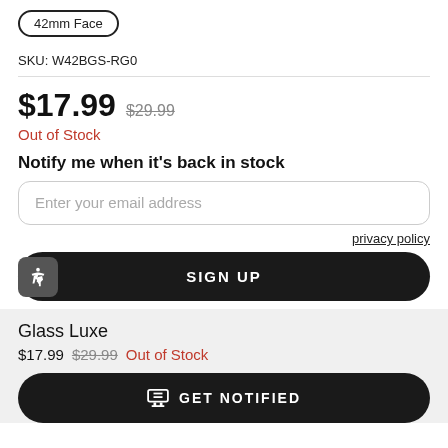42mm Face
SKU: W42BGS-RG0
$17.99  $29.99
Out of Stock
Notify me when it's back in stock
Enter your email address
privacy policy
SIGN UP
Glass Luxe
$17.99  $29.99  Out of Stock
GET NOTIFIED